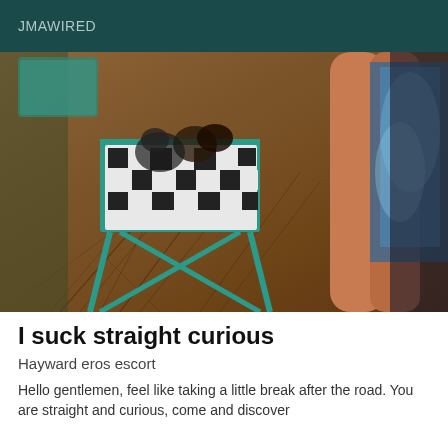JMAWIRED
[Figure (photo): Indoor photo showing person's bare legs standing near a teal/turquoise folding chair with a black and white patterned cushion on a wooden floor with shadow patterns]
I suck straight curious
Hayward eros escort
Hello gentlemen, feel like taking a little break after the road. You are straight and curious, come and discover